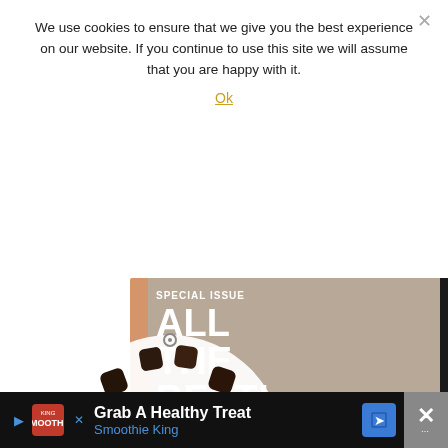We use cookies to ensure that we give you the best experience on our website. If you continue to use this site we will assume that you are happy with it.
Ok
[Figure (photo): Magazine cover showing 'SPECIAL ISSUE ALL THE BEST PUR...' with a woman's face and a dark bead necklace overlaid on top of the magazine. A dark sidebar is visible on the right edge.]
[Figure (infographic): Advertisement banner: 'Grab A Healthy Treat' from Smoothie King with logo, blue arrow navigation icon, and close button with X symbol.]